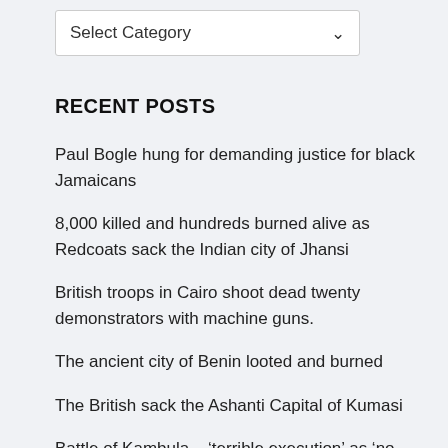Select Category
RECENT POSTS
Paul Bogle hung for demanding justice for black Jamaicans
8,000 killed and hundreds burned alive as Redcoats sack the Indian city of Jhansi
British troops in Cairo shoot dead twenty demonstrators with machine guns.
The ancient city of Benin looted and burned
The British sack the Ashanti Capital of Kumasi
Battle of Kambula – ‘terrible execution’ as ‘no quarter was shown.’